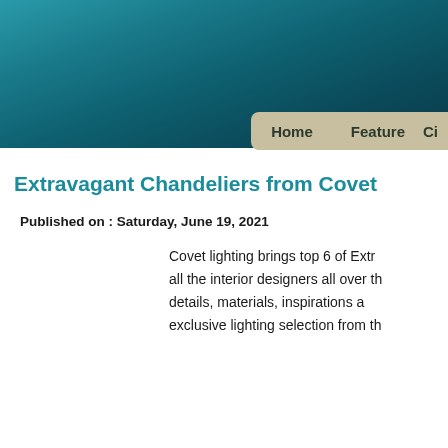[Figure (photo): Teal/dark cyan textured header banner background]
Home   Feature   Ci
Extravagant Chandeliers from Covet
Published on : Saturday, June 19, 2021
Covet lighting brings top 6 of Extr... all the interior designers all over th... details, materials, inspirations a... exclusive lighting selection from th...